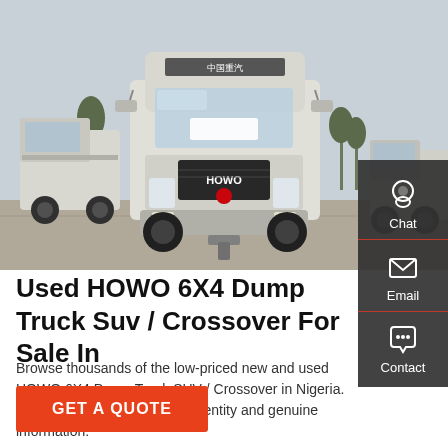[Figure (photo): Front-facing view of a white HOWO 6X4 dump truck parked in a yard, with additional trucks visible on both sides and trees in the background.]
Used HOWO 6X4 Dump Truck Suv / Crossover For Sale In
Browse thousands of the low-priced new and used HOWO 6X4 Dump Truck SUV / Crossover in Nigeria. Reliable sellers with verified identity and genuine information.
Chat
Email
Contact
GET A QUOTE